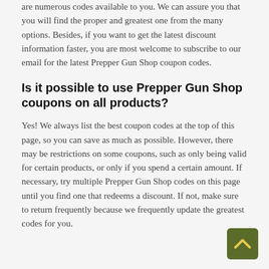are numerous codes available to you. We can assure you that you will find the proper and greatest one from the many options. Besides, if you want to get the latest discount information faster, you are most welcome to subscribe to our email for the latest Prepper Gun Shop coupon codes.
Is it possible to use Prepper Gun Shop coupons on all products?
Yes! We always list the best coupon codes at the top of this page, so you can save as much as possible. However, there may be restrictions on some coupons, such as only being valid for certain products, or only if you spend a certain amount. If necessary, try multiple Prepper Gun Shop codes on this page until you find one that redeems a discount. If not, make sure to return frequently because we frequently update the greatest codes for you.